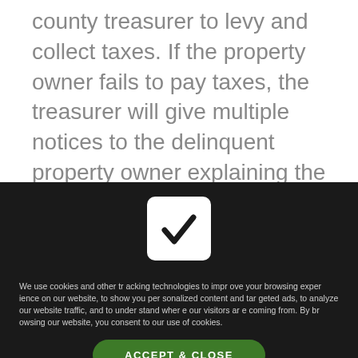county treasurer to levy and collect taxes. If the property owner fails to pay taxes, the treasurer will give multiple notices to the delinquent property owner explaining the consequences of unpaid property taxes.
The treasurer will explain to the owner of the property that the owner is forfeiting their rights and the county will issue a tax lien
[Figure (other): White rounded checkbox with a black checkmark on a dark background, part of a cookie consent overlay]
We use cookies and other tracking technologies to improve your browsing experience on our website, to show you personalized content and targeted ads, to analyze our website traffic, and to understand where our visitors are coming from. By browsing our website, you consent to our use of cookies.
ACCEPT & CLOSE